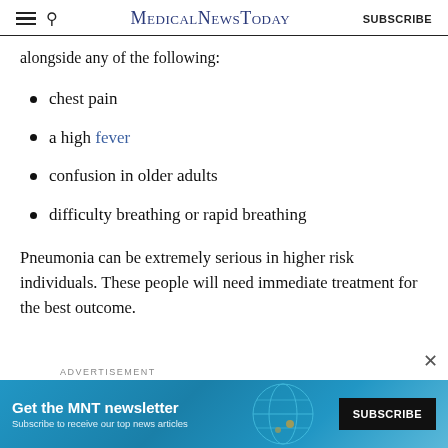MedicalNewsToday | SUBSCRIBE
alongside any of the following:
chest pain
a high fever
confusion in older adults
difficulty breathing or rapid breathing
Pneumonia can be extremely serious in higher risk individuals. These people will need immediate treatment for the best outcome.
[Figure (infographic): Advertisement banner for MNT newsletter: 'Get the MNT newsletter - Subscribe to receive our top news articles' with a SUBSCRIBE button on dark background and decorative globe graphic on teal background.]